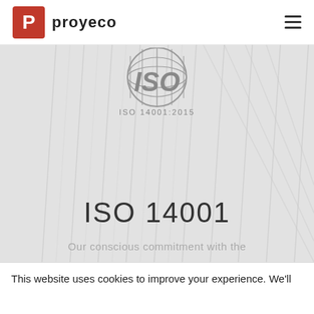[Figure (logo): Proyeco company logo with red P icon and 'proyeco' wordmark in black]
[Figure (logo): ISO 14001:2015 certification logo — large grey italic ISO text over a globe/grid emblem, with 'ISO 14001:2015' below]
ISO 14001
Our conscious commitment with the
This website uses cookies to improve your experience. We'll